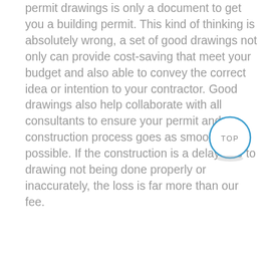permit drawings is only a document to get you a building permit. This kind of thinking is absolutely wrong, a set of good drawings not only can provide cost-saving that meet your budget and also able to convey the correct idea or intention to your contractor. Good drawings also help collaborate with all consultants to ensure your permit and construction process goes as smoothly as possible. If the construction is a delay due to drawing not being done properly or inaccurately, the loss is far more than our fee.
[Figure (other): A circular 'TOP' button with a blue ring border and gray text, used as a scroll-to-top navigation element.]